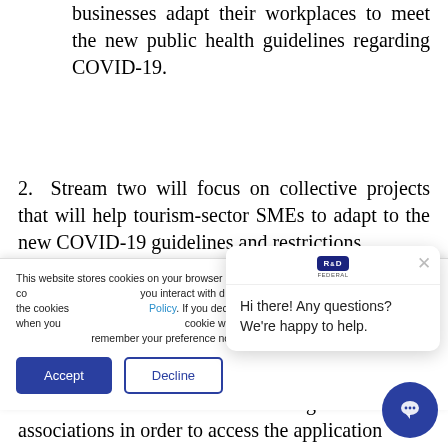businesses adapt their workplaces to meet the new public health guidelines regarding COVID-19.
2. Stream two will focus on collective projects that will help tourism-sector SMEs to adapt to the new COVID-19 guidelines and restrictions.
Businesses must contact their regional tourism associations in order to access the application
This website stores cookies on your browser and are used to collect information on how you interact with our website. To find out more about the cookies we use, see our Privacy Policy. If you decline, your information won't be tracked when you visit this website. A single cookie will be used in your browser to remember your preference not to be tracked.
[Figure (screenshot): Cookie consent banner with Accept and Decline buttons, and a chat popup from R&D with message 'Hi there! Any questions? We're happy to help.']